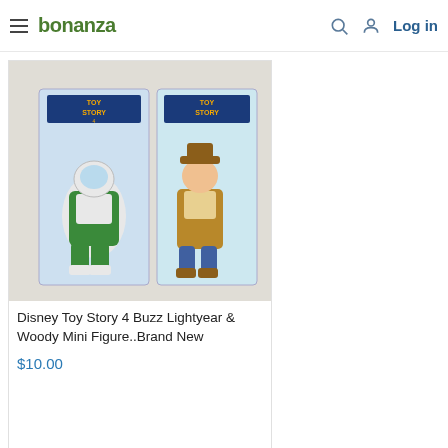bonanza — Log in
[Figure (photo): Disney Toy Story 4 Buzz Lightyear and Woody mini figures in packaging, shown side by side]
Disney Toy Story 4 Buzz Lightyear & Woody Mini Figure..Brand New
$10.00
[Figure (photo): Minions figure in orange and yellow retail box packaging]